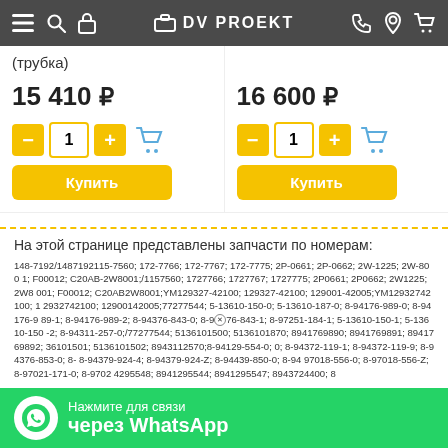DV PROEKT
(трубка)
15 410 ₽
16 600 ₽
На этой странице представлены запчасти по номерам:
148-7192/1487192115-7560; 172-7766; 172-7767; 172-7775; 2P-0661; 2P-0662; 2W-1225; 2W-8001; F00012; C20AB-2W8001;/1157560; 1727766; 1727767; 1727775; 2P0661; 2P0662; 2W1225; 2W8001; F00012; C20AB2W8001;YM129327-42100; 129327-42100; 129001-42005;YM12932742100; 12932742100; 12900142005;77277544; 5-13610-150-0; 5-13610-187-0; 8-94176-989-0; 8-94176-989-1; 8-94176-989-2; 8-94376-843-0; 8-94376-843-1; 8-97251-184-1; 5-13610-150-1; 5-13610-150-2; 8-94311-257-0;/77277544; 5136101500; 5136101870; 8941769890; 8941769891; 8941769892; 36101501; 5136101502; 8943112570;8-94129-554-0; 0; 8-94372-119-1; 8-94372-119-9; 8-94376-853-0; 8-8-94379-924-4; 8-94379-924-Z; 8-94439-850-0; 8-94 97018-556-0; 8-97018-556-Z; 8-97021-171-0; 8-9702 4295548; 8941295544; 8941295547; 8943724400; 8
Нажмите для связи через WhatsApp